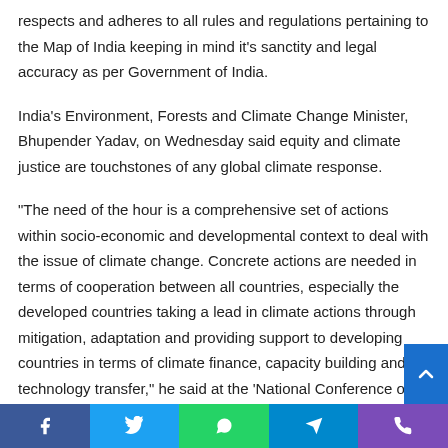respects and adheres to all rules and regulations pertaining to the Map of India keeping in mind it's sanctity and legal accuracy as per Government of India.
India's Environment, Forests and Climate Change Minister, Bhupender Yadav, on Wednesday said equity and climate justice are touchstones of any global climate response.
“The need of the hour is a comprehensive set of actions within socio-economic and developmental context to deal with the issue of climate change. Concrete actions are needed in terms of cooperation between all countries, especially the developed countries taking a lead in climate actions through mitigation, adaptation and providing support to developing countries in terms of climate finance, capacity building and technology transfer,” he said at the ‘National Conference on COP26
Facebook | Twitter | WhatsApp | Telegram | Phone